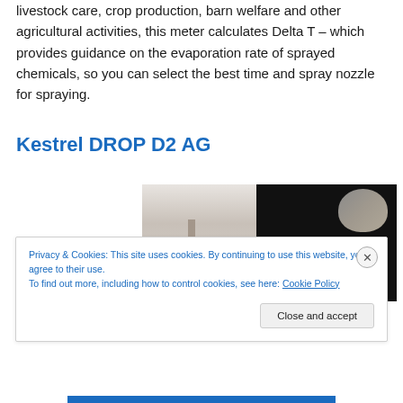livestock care, crop production, barn welfare and other agricultural activities, this meter calculates Delta T – which provides guidance on the evaporation rate of sprayed chemicals, so you can select the best time and spray nozzle for spraying.
Kestrel DROP D2 AG
[Figure (photo): A partially visible photograph showing what appears to be a weathered door or wall surface on the left side, and a dark background with a partial view of a person's head (grey hair) on the right side.]
Privacy & Cookies: This site uses cookies. By continuing to use this website, you agree to their use.
To find out more, including how to control cookies, see here: Cookie Policy